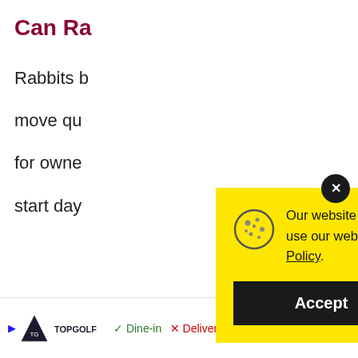Can Ra…
Rabbits b…

move qu…

for owne…

start day…
[Figure (screenshot): Cookie consent modal popup with yellow background. Contains a cookie icon, text about website cookie usage, a link to Cookie Policy, and an Accept button. A close (X) button is in the top-right corner.]
[Figure (other): Advertisement banner for TopGolf showing logo, Dine-in with checkmark, Delivery with X mark, and a navigation arrow icon.]